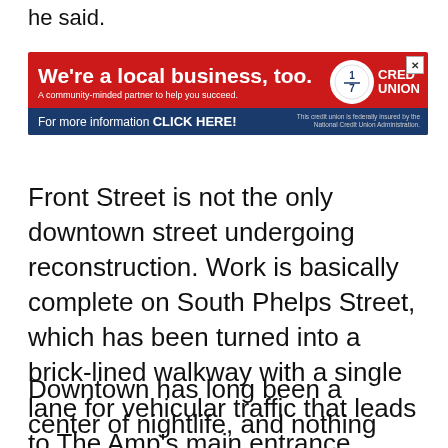he said.
[Figure (other): Advertisement for a local credit union. Red background with bold white text 'We're a local business, too.' and tagline 'A community-minded partner to help you succeed.' Features a circular logo with '1/7' graphic and 'CRED UNION' text. Blue bar at bottom: 'For more information CLICK HERE!' with NCUA disclaimer text.]
Front Street is not the only downtown street undergoing reconstruction. Work is basically complete on South Phelps Street, which has been turned into a brick-lined walkway with a single lane for vehicular traffic that leads to The Amp's main entrance.
Downtown has long been a center of nightlife, and nothing consistently attracts more people there than a concert at one of